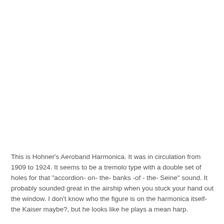This is Hohner's Aeroband Harmonica. It was in circulation from 1909 to 1924. It seems to be a tremolo type with a double set of holes for that "accordion- on- the- banks -of - the- Seine" sound. It probably sounded great in the airship when you stuck your hand out the window. I don't know who the figure is on the harmonica itself- the Kaiser maybe?, but he looks like he plays a mean harp.